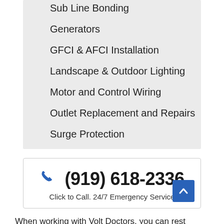Sub Line Bonding
Generators
GFCI & AFCI Installation
Landscape & Outdoor Lighting
Motor and Control Wiring
Outlet Replacement and Repairs
Surge Protection
(919) 618-2336
Click to Call. 24/7 Emergency Service
When working with Volt Doctors, you can rest assured